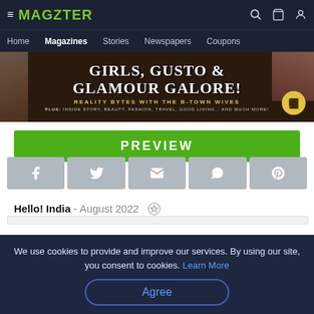MAGZTER — Home | Magazines | Stories | Newspapers | Coupons
[Figure (illustration): Magazine cover for Hello! India August 2022 featuring text GIRLS, GUSTO & GLAMOUR GALORE! REALITY BYTES WITH THE B-TOWN WIVES. PLUS: INSIDE STORY, BEAUTY, FASHION, TRAVEL, GOOD LIVING... AND MUCH MORE!]
PREVIEW
[Figure (infographic): Social share buttons row: Facebook, Twitter, Email, WhatsApp, Pinterest]
Hello! India - August 2022
We use cookies to provide and improve our services. By using our site, you consent to cookies. Learn More
Agree